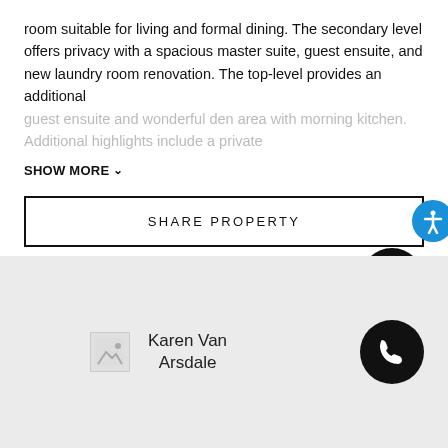room suitable for living and formal dining. The secondary level offers privacy with a spacious master suite, guest ensuite, and new laundry room renovation. The top-level provides an additional guest ensuite and wonderful den area with morning kitchen. Additional highlights include a private
SHOW MORE
SHARE PROPERTY
Karen Van Arsdale